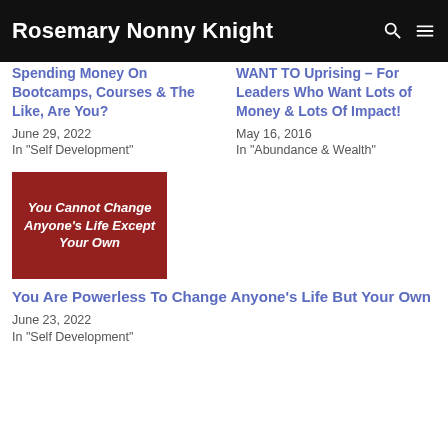Rosemary Nonny Knight
Spending Money On Bootcamps, Courses & The Like, Are You?
June 29, 2022
In "Self Development"
WANT TO Uprising – For Leaders Who Want Lots of Money & Lots Of Impact!
May 16, 2016
In "Abundance & Wealth"
[Figure (illustration): Dark red/maroon card image with white bold italic text reading: You Cannot Change Anyone's Life Except Your Own]
You Are Powerless To Change Anyone's Life But Your Own
June 23, 2022
In "Self Development"